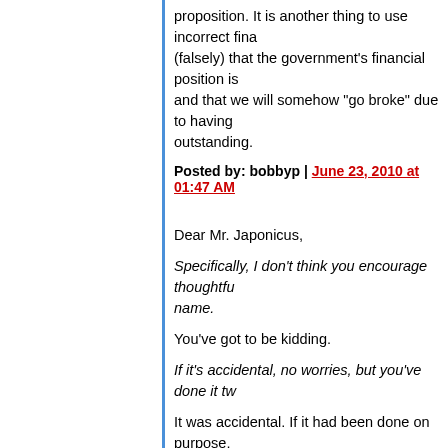proposition. It is another thing to use incorrect fina (falsely) that the government's financial position is and that we will somehow "go broke" due to having outstanding.
Posted by: bobbyp | June 23, 2010 at 01:47 AM
Dear Mr. Japonicus,
Specifically, I don't think you encourage thoughtfu name.
You've got to be kidding.
If it's accidental, no worries, but you've done it tw
It was accidental. If it had been done on purpose, great deal more wickedly.
Could you take it down a notch?
Why? This is a serious issue, and I need the prac
Thanks
You are most welcome.